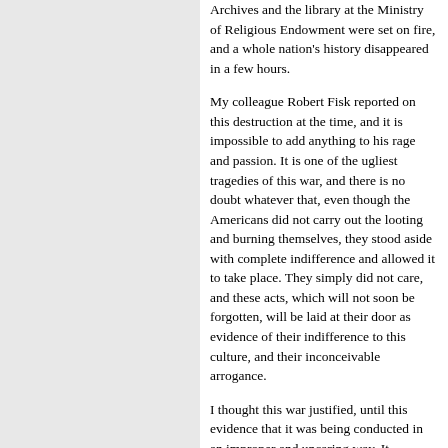Archives and the library at the Ministry of Religious Endowment were set on fire, and a whole nation's history disappeared in a few hours.
My colleague Robert Fisk reported on this destruction at the time, and it is impossible to add anything to his rage and passion. It is one of the ugliest tragedies of this war, and there is no doubt whatever that, even though the Americans did not carry out the looting and burning themselves, they stood aside with complete indifference and allowed it to take place. They simply did not care, and these acts, which will not soon be forgotten, will be laid at their door as evidence of their indifference to this culture, and their inconceivable arrogance.
I thought this war justified, until this evidence that it was being conducted in an improper and uncaring way. It